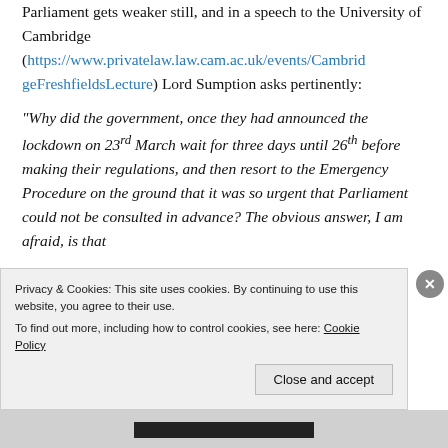Parliament gets weaker still, and in a speech to the University of Cambridge (https://www.privatelaw.law.cam.ac.uk/events/CambridgeFreshfieldsLecture) Lord Sumption asks pertinently:
“Why did the government, once they had announced the lockdown on 23rd March wait for three days until 26th before making their regulations, and then resort to the Emergency Procedure on the ground that it was so urgent that Parliament could not be consulted in advance? The obvious answer, I am afraid, is that
Privacy & Cookies: This site uses cookies. By continuing to use this website, you agree to their use. To find out more, including how to control cookies, see here: Cookie Policy
Close and accept